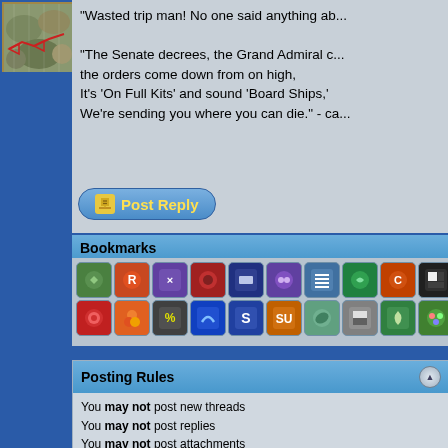[Figure (screenshot): Game map screenshot with terrain showing hexagonal grid and red path markers]
"Wasted trip man! No one said anything ab...

"The Senate decrees, the Grand Admiral c... the orders come down from on high,
It's 'On Full Kits' and sound 'Board Ships,'
We're sending you where you can die." - ca...
[Figure (other): Post Reply button with pencil icon]
Bookmarks
[Figure (other): Row of social bookmarking icons - two rows of 10+ icons each]
Posting Rules
You may not post new threads
You may not post replies
You may not post attachments
You may not edit your posts
BB code is On
Smilies are On
[IMG] code is On
HTML code is On
Forum Rules